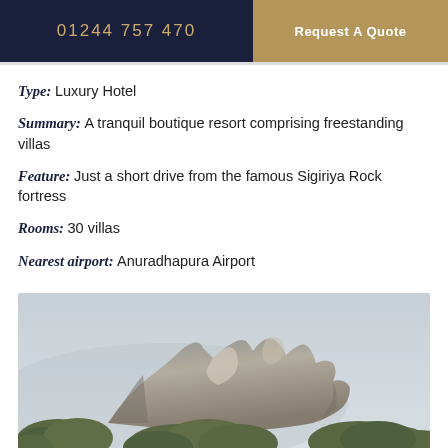01244 757 470   Request A Quote
Type:  Luxury Hotel
Summary:  A tranquil boutique resort comprising freestanding villas
Feature:  Just a short drive from the famous Sigiriya Rock fortress
Rooms:  30 villas
Nearest airport:  Anuradhapura Airport
[Figure (photo): Photograph of Sigiriya Rock fortress rising above trees against a hazy sky, Sri Lanka]